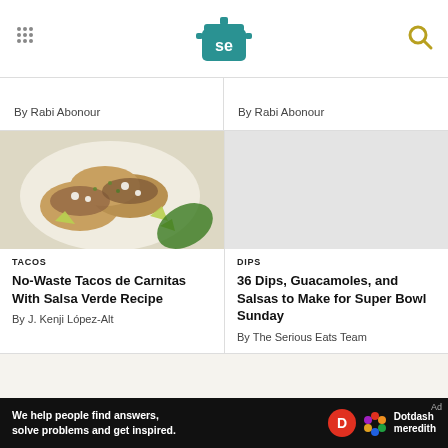Serious Eats header with logo and navigation
By Rabi Abonour
By Rabi Abonour
[Figure (photo): Tacos de carnitas on a white plate with lime wedges and salsa verde, viewed from above]
TACOS
No-Waste Tacos de Carnitas With Salsa Verde Recipe
By J. Kenji López-Alt
[Figure (photo): Light gray placeholder image for dips article]
DIPS
36 Dips, Guacamoles, and Salsas to Make for Super Bowl Sunday
By The Serious Eats Team
We help people find answers, solve problems and get inspired. Dotdash meredith Ad